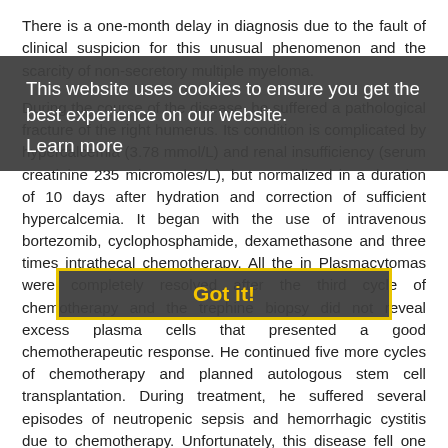There is a one-month delay in diagnosis due to the fault of clinical suspicion for this unusual phenomenon and the scarcity of non-secretory multiple myeloma.
This website uses cookies to ensure you get the best experience on our website. Learn more
Got it!
During the course of the disease, he suffered a pathological fracture of the right humerus. Its condition is complicated by hypercalcemia (3.78 mmol/L) and renal insufficiency (serum creatinine 235 micromoles/L), but normalized in a duration of 10 days after hydration and correction of sufficient hypercalcemia. It began with the use of intravenous bortezomib, cyclophosphamide, dexamethasone and three times intrathecal chemotherapy. All the in Plasmacytomas were completely resolved after the third cycle of chemotherapy and the trephine biopsy did not reveal excess plasma cells that presented a good chemotherapeutic response. He continued five more cycles of chemotherapy and planned autologous stem cell transplantation. During treatment, he suffered several episodes of neutropenic sepsis and hemorrhagic cystitis due to chemotherapy. Unfortunately, this disease fell one month after the eighth cycle of chemotherapy with several new medullary